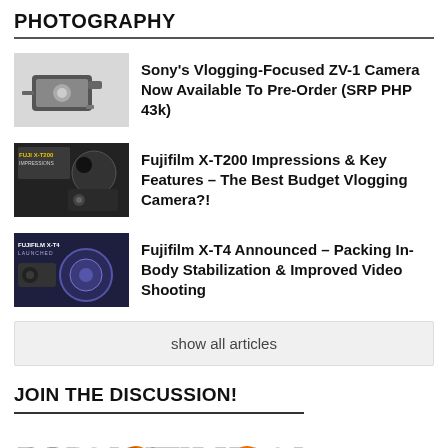PHOTOGRAPHY
Sony's Vlogging-Focused ZV-1 Camera Now Available To Pre-Order (SRP PHP 43k)
Fujifilm X-T200 Impressions & Key Features – The Best Budget Vlogging Camera?!
Fujifilm X-T4 Announced – Packing In-Body Stabilization & Improved Video Shooting
show all articles
JOIN THE DISCUSSION!
[Figure (logo): BigTimeShow Community logo in yellow and red comic-style lettering]
POPULAR